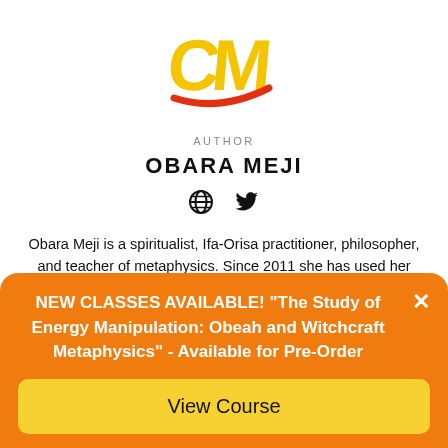[Figure (logo): CM logo with gold letters C and M, red swoosh accent]
AUTHOR
OBARA MEJI
[Figure (infographic): Globe icon and Twitter bird icon social links]
Obara Meji is a spiritualist, Ifa-Orisa practitioner, philosopher, and teacher of metaphysics. Since 2011 she has used her online platform to share her personal experiences to those seeking answers about spirituality. Her teachings will expand into short
NEW CLASSES AVAILABLE! "The Study of Energy Manipulation: Obeah and Witchcraft Metaphysics" - Available for Pre-Order
View Course